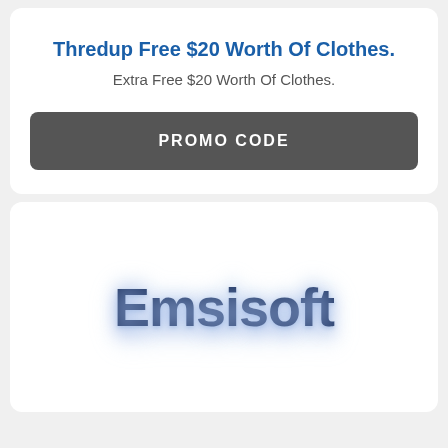Thredup Free $20 Worth Of Clothes.
Extra Free $20 Worth Of Clothes.
PROMO CODE
[Figure (logo): Emsisoft company logo with bold dark navy text and light blue glow/reflection effect]